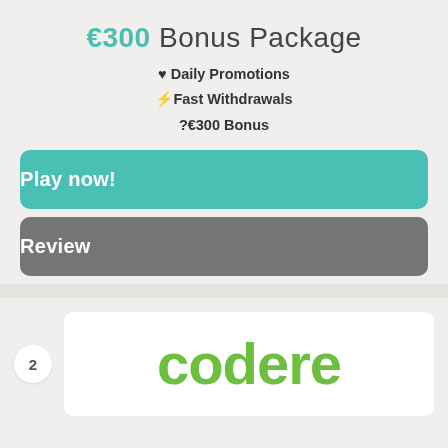€300 Bonus Package
♥ Daily Promotions
⚡Fast Withdrawals
?€300 Bonus
Play now!
Review
2
[Figure (logo): Codere brand logo in green text on white background]